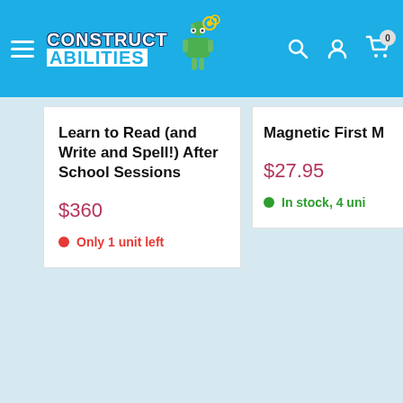Construct Abilities - navigation header with logo, hamburger menu, search, account, and cart icons
Learn to Read (and Write and Spell!) After School Sessions
$360
Only 1 unit left
Magnetic First M
$27.95
In stock, 4 uni
Powered by YOT PO.
0 Questions \ 0 Answers